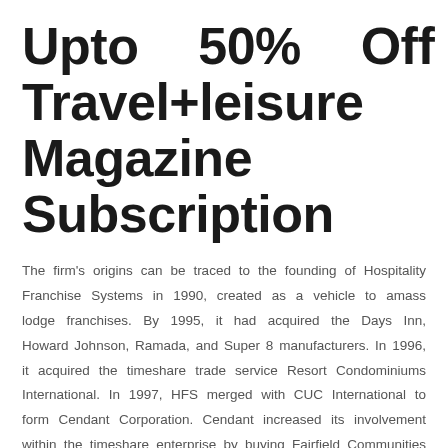Upto 50% Off On Travel+leisure India Magazine Subscription
The firm's origins can be traced to the founding of Hospitality Franchise Systems in 1990, created as a vehicle to amass lodge franchises. By 1995, it had acquired the Days Inn, Howard Johnson, Ramada, and Super 8 manufacturers. In 1996, it acquired the timeshare trade service Resort Condominiums International. In 1997, HFS merged with CUC International to form Cendant Corporation. Cendant increased its involvement within the timeshare enterprise by buying Fairfield Communities in 2001 and Trendwest Resorts in 2002. In 2005, Cendant purchased the Wyndham resort model